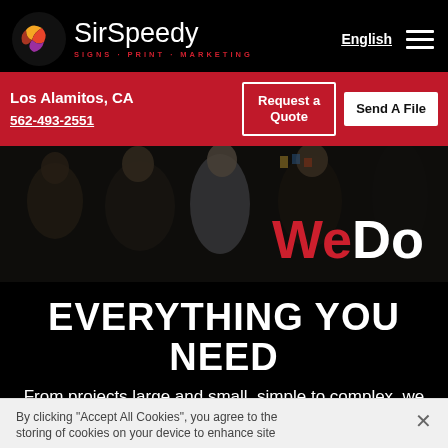[Figure (logo): SirSpeedy logo with flame/ribbon icon and text 'SirSpeedy SIGNS · PRINT · MARKETING']
English ☰
Los Alamitos, CA
562-493-2551
Request a Quote
Send A File
[Figure (photo): Background photo of people in a meeting/office environment with overlay, showing 'WeDo' text]
EVERYTHING YOU NEED
From projects large and small, simple to complex, we take you from idea to final
By clicking "Accept All Cookies", you agree to the storing of cookies on your device to enhance site